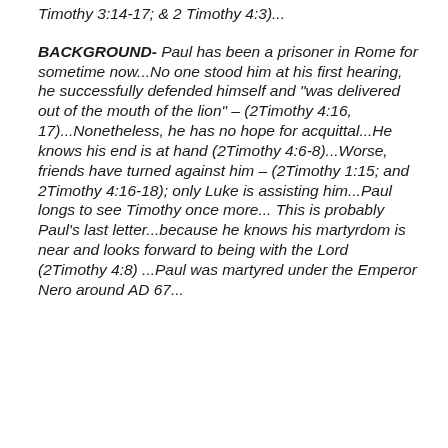Timothy 3:14-17; & 2 Timothy 4:3)...
BACKGROUND- Paul has been a prisoner in Rome for sometime now...No one stood him at his first hearing, he successfully defended himself and "was delivered out of the mouth of the lion" – (2Timothy 4:16, 17)...Nonetheless, he has no hope for acquittal...He knows his end is at hand (2Timothy 4:6-8)...Worse, friends have turned against him – (2Timothy 1:15; and 2Timothy 4:16-18); only Luke is assisting him...Paul longs to see Timothy once more... This is probably Paul's last letter...because he knows his martyrdom is near and looks forward to being with the Lord (2Timothy 4:8) ...Paul was martyred under the Emperor Nero around AD 67...